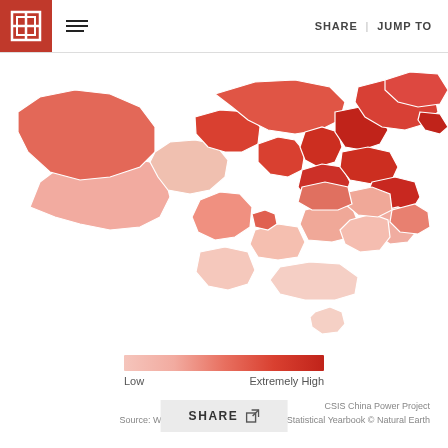SHARE | JUMP TO
[Figure (map): Choropleth map of China showing regional variation from Low to Extremely High, colored in shades of red. Northwestern regions (Xinjiang, Tibet) are medium-light red; northeastern and northern regions (Inner Mongolia, Gansu, Shanxi) are medium-dark red; eastern coastal and central regions show darker red; southern and southwestern regions are lighter pink-red. Small island territory (Hainan) shown at bottom center.]
Low — Extremely High (legend scale)
CSIS China Power Project
Source: World Resources Institute; China Statistical Yearbook © Natural Earth